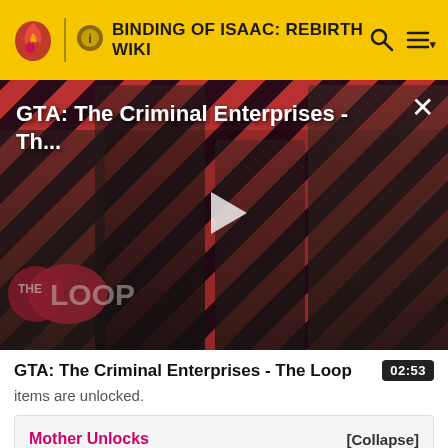BINDING OF ISAAC: REBIRTH WIKI
[Figure (screenshot): Video thumbnail for GTA: The Criminal Enterprises - The Loop, showing four game characters against a diagonal red and dark striped background with THE LOOP logo overlay and a play button in the center. Title text reads: GTA: The Criminal Enterprises - Th... with a close (X) button.]
GTA: The Criminal Enterprises - The Loop  02:53
items are unlocked.
Mother Unlocks   [Collapse]